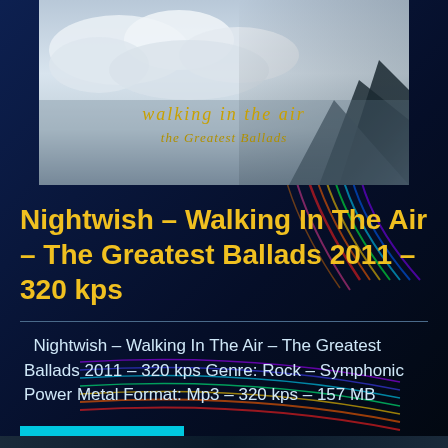[Figure (illustration): Album art for Nightwish – Walking In The Air – The Greatest Ballads. Shows a cloudy sky with mountain landscape. Text overlay reads 'walking in the air – the greatest Ballads' in golden italic font.]
Nightwish – Walking In The Air – The Greatest Ballads 2011 – 320 kps
Nightwish – Walking In The Air – The Greatest Ballads 2011 – 320 kps Genre: Rock – Symphonic Power Metal Format: Mp3 – 320 kps – 157 MB
READ MORE